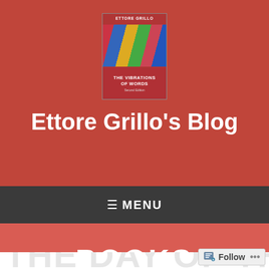[Figure (illustration): Book cover for 'The Vibrations of Words' by Ettore Grillo, showing colorful striped umbrella-like shapes on a red background]
Ettore Grillo's Blog
≡ MENU
BOOKS
THE DAY OF THE DEAD